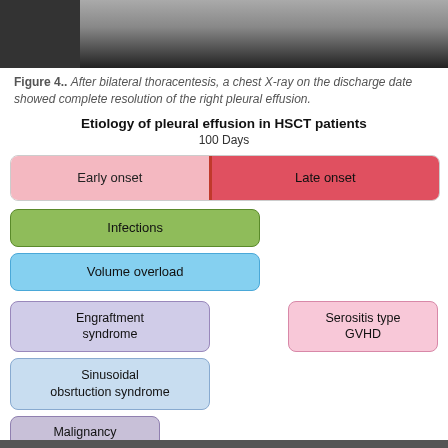[Figure (photo): Chest X-ray image showing bilateral thoracentesis result — grayscale radiograph]
Figure 4.. After bilateral thoracentesis, a chest X-ray on the discharge date showed complete resolution of the right pleural effusion.
[Figure (infographic): Etiology of pleural effusion in HSCT patients diagram showing early onset and late onset categories with 100 Days timeline, including Infections, Volume overload, Engraftment syndrome, Sinusoidal obsrtuction syndrome, Malignancy, and Serositis type GVHD boxes]